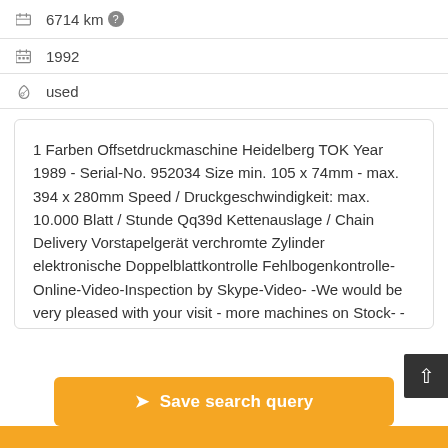6714 km
1992
used
1 Farben Offsetdruckmaschine Heidelberg TOK Year 1989 - Serial-No. 952034 Size min. 105 x 74mm - max. 394 x 280mm Speed / Druckgeschwindigkeit: max. 10.000 Blatt / Stunde Qq39d Kettenauslage / Chain Delivery Vorstapelgerät verchromte Zylinder elektronische Doppelblattkontrolle Fehlbogenkontrolle-Online-Video-Inspection by Skype-Video- -We would be very pleased with your visit - more machines on Stock- -Available Immediately - Can be inspect- -On Stock Emskirchen / Nürnberg - Can be te...
Save search query